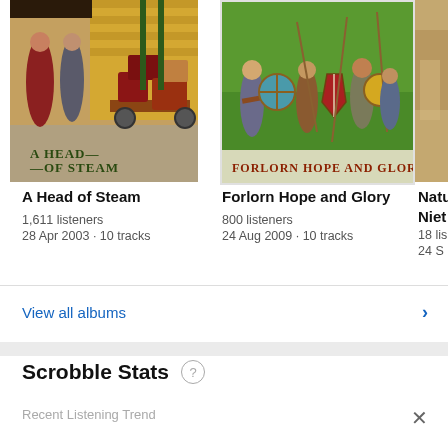[Figure (photo): Album cover for 'A Head of Steam' showing people at a train station with luggage on a cart]
A Head of Steam
1,611 listeners
28 Apr 2003 · 10 tracks
[Figure (photo): Album cover for 'Forlorn Hope and Glory' showing medieval warriors with shields and weapons on a green field]
Forlorn Hope and Glory
800 listeners
24 Aug 2009 · 10 tracks
[Figure (photo): Partial album cover, brown/tan colored, partially visible]
Natu
Niet
18 lis
24 S
View all albums
Scrobble Stats
Recent Listening Trend